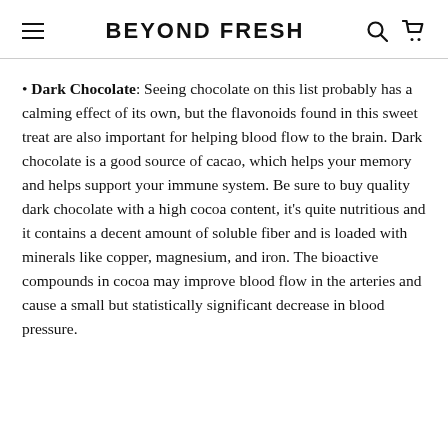BEYOND FRESH
Dark Chocolate: Seeing chocolate on this list probably has a calming effect of its own, but the flavonoids found in this sweet treat are also important for helping blood flow to the brain. Dark chocolate is a good source of cacao, which helps your memory and helps support your immune system. Be sure to buy quality dark chocolate with a high cocoa content, it's quite nutritious and it contains a decent amount of soluble fiber and is loaded with minerals like copper, magnesium, and iron. The bioactive compounds in cocoa may improve blood flow in the arteries and cause a small but statistically significant decrease in blood pressure.